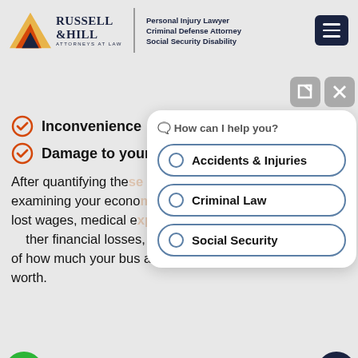[Figure (logo): Russell & Hill Attorneys at Law logo with mountain/triangle graphic, vertical divider, taglines: Personal Injury Lawyer, Criminal Defense Attorney, Social Security Disability, and hamburger menu button]
Inconvenience
Damage to your re[putation]
After quantifying these [damages, we will typic]ally examining your econo[mic damages including your] lost wages, medical e[xpenses, and] ther financial losses, we will have a bette[r picture] of how much your bus accident lawsuit Bothell is worth.
[Figure (screenshot): Chat widget popup with header 'How can I help you?' and three radio button options: Accidents & Injuries, Criminal Law, Social Security. Two control buttons (external link and close X) in top right. Phone FAB (green) and email FAB (dark navy) floating buttons.]